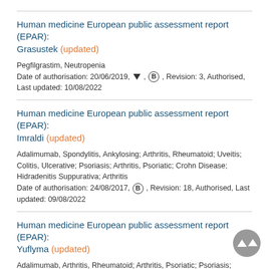Human medicine European public assessment report (EPAR): Grasustek (updated)
Pegfilgrastim, Neutropenia
Date of authorisation: 20/06/2019, [triangle], [B] , Revision: 3, Authorised, Last updated: 10/08/2022
Human medicine European public assessment report (EPAR): Imraldi (updated)
Adalimumab, Spondylitis, Ankylosing; Arthritis, Rheumatoid; Uveitis; Colitis, Ulcerative; Psoriasis; Arthritis, Psoriatic; Crohn Disease; Hidradenitis Suppurativa; Arthritis
Date of authorisation: 24/08/2017, [B] , Revision: 18, Authorised, Last updated: 09/08/2022
Human medicine European public assessment report (EPAR): Yuflyma (updated)
Adalimumab, Arthritis, Rheumatoid; Arthritis, Psoriatic; Psoriasis; Spondylitis, Ankylosing; Uveitis; Hidradenitis Suppurativa; Colitis, Ulcerative; Crohn Disease; Arthritis, Juvenile Rheumatoid